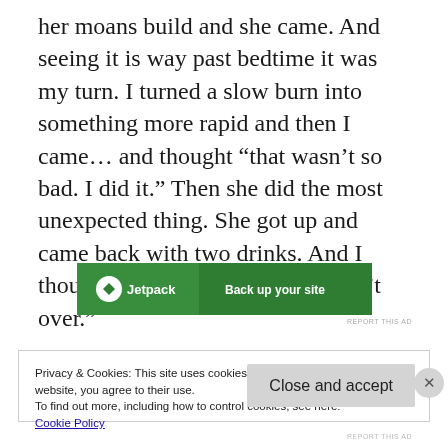her moans build and she came. And seeing it is way past bedtime it was my turn. I turned a slow burn into something more rapid and then I came… and thought “that wasn’t so bad. I did it.” Then she did the most unexpected thing. She got up and came back with two drinks. And I thought “Oh my god, the night isn’t over.”
[Figure (other): Jetpack advertisement banner with green background showing Jetpack logo and text 'Back up your site']
Privacy & Cookies: This site uses cookies. By continuing to use this website, you agree to their use.
To find out more, including how to control cookies, see here:
Cookie Policy